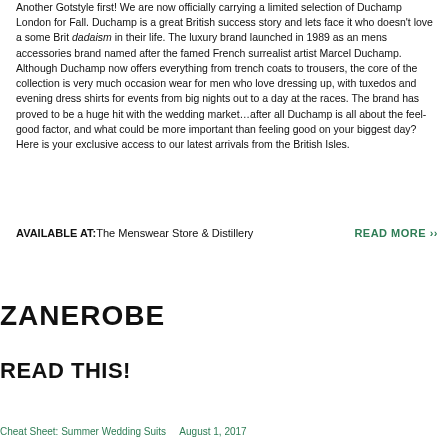Another Gotstyle first! We are now officially carrying a limited selection of Duchamp London for Fall. Duchamp is a great British success story and lets face it who doesn't love a some Brit dadaism in their life. The luxury brand launched in 1989 as an mens accessories brand named after the famed French surrealist artist Marcel Duchamp.
Although Duchamp now offers everything from trench coats to trousers, the core of the collection is very much occasion wear for men who love dressing up, with tuxedos and evening dress shirts for events from big nights out to a day at the races. The brand has proved to be a huge hit with the wedding market…after all Duchamp is all about the feel-good factor, and what could be more important than feeling good on your biggest day?
Here is your exclusive access to our latest arrivals from the British Isles.
AVAILABLE AT: The Menswear Store & Distillery
READ MORE ››
ZANEROBE
READ THIS!
Cheat Sheet: Summer Wedding Suits — August 1, 2017